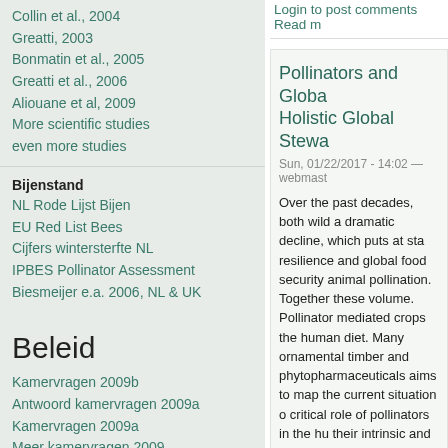Collin et al., 2004
Greatti, 2003
Bonmatin et al., 2005
Greatti et al., 2006
Aliouane et al, 2009
More scientific studies
even more studies
Bijenstand
NL Rode Lijst Bijen
EU Red List Bees
Cijfers wintersterfte NL
IPBES Pollinator Assessment
Biesmeijer e.a. 2006, NL & UK
Beleid
Kamervragen 2009b
Antwoord kamervragen 2009a
Kamervragen 2009a
Meer kamervragen 2009
Kamervragen 2008
Login to post comments   Read m
Pollinators and Globa Holistic Global Stewa
Sun, 01/22/2017 - 14:02 — webmast
Over the past decades, both wild a dramatic decline, which puts at sta resilience and global food security animal pollination. Together these volume. Pollinator mediated crops the human diet. Many ornamental timber and phytopharmaceuticals aims to map the current situation o critical role of pollinators in the hu their intrinsic and extrinsic value, a interventions needed to conserve importance of conserving and rest present pollinator crisis threatens problems of hidden hunger, erode ecosystems that form our life supp